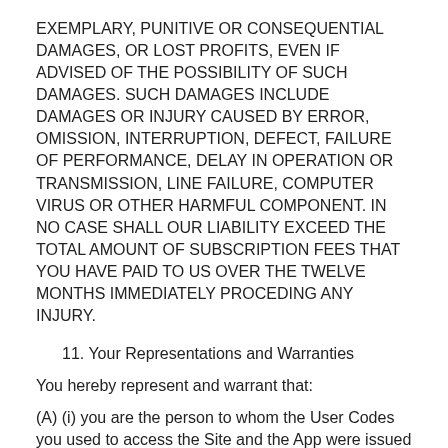EXEMPLARY, PUNITIVE OR CONSEQUENTIAL DAMAGES, OR LOST PROFITS, EVEN IF ADVISED OF THE POSSIBILITY OF SUCH DAMAGES. SUCH DAMAGES INCLUDE DAMAGES OR INJURY CAUSED BY ERROR, OMISSION, INTERRUPTION, DEFECT, FAILURE OF PERFORMANCE, DELAY IN OPERATION OR TRANSMISSION, LINE FAILURE, COMPUTER VIRUS OR OTHER HARMFUL COMPONENT. IN NO CASE SHALL OUR LIABILITY EXCEED THE TOTAL AMOUNT OF SUBSCRIPTION FEES THAT YOU HAVE PAID TO US OVER THE TWELVE MONTHS IMMEDIATELY PROCEDING ANY INJURY.
11. Your Representations and Warranties
You hereby represent and warrant that:
(A) (i) you are the person to whom the User Codes you used to access the Site and the App were issued by us and the information you provided to us in connection with